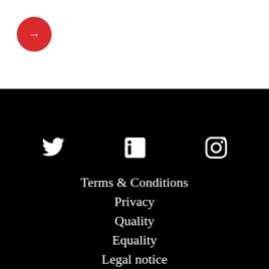[Figure (other): Red circular button with white right-arrow icon in top-left of white section]
[Figure (other): Social media icons: Twitter bird, LinkedIn 'in', Instagram camera outline, displayed in white on black background]
Terms & Conditions
Privacy
Quality
Equality
Legal notice
Accessibility